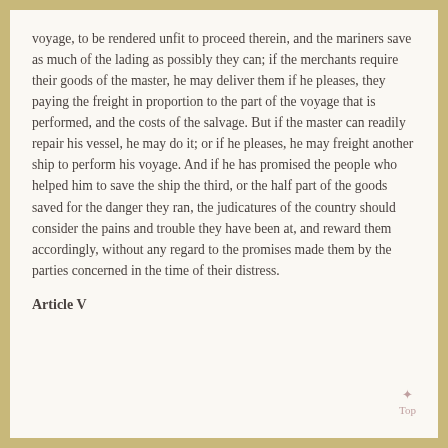voyage, to be rendered unfit to proceed therein, and the mariners save as much of the lading as possibly they can; if the merchants require their goods of the master, he may deliver them if he pleases, they paying the freight in proportion to the part of the voyage that is performed, and the costs of the salvage. But if the master can readily repair his vessel, he may do it; or if he pleases, he may freight another ship to perform his voyage. And if he has promised the people who helped him to save the ship the third, or the half part of the goods saved for the danger they ran, the judicatures of the country should consider the pains and trouble they have been at, and reward them accordingly, without any regard to the promises made them by the parties concerned in the time of their distress.
Article V